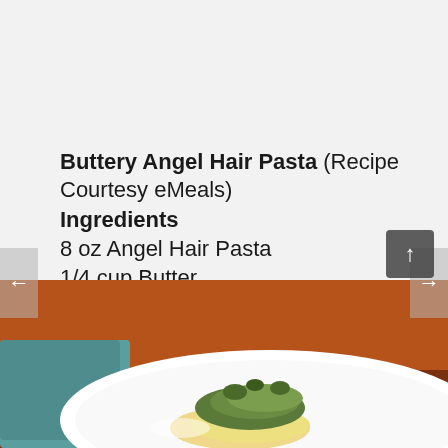Buttery Angel Hair Pasta (Recipe Courtesy eMeals)
Ingredients
8 oz Angel Hair Pasta
1/4 cup Butter
Directions
Cook pasta in salted water according to package directions. Drain well and toss pasta with ¼ cup butter to serve.
[Figure (photo): Photo of a plate of angel hair pasta with greens and garnish on a white plate, set on a wooden table with a teal napkin.]